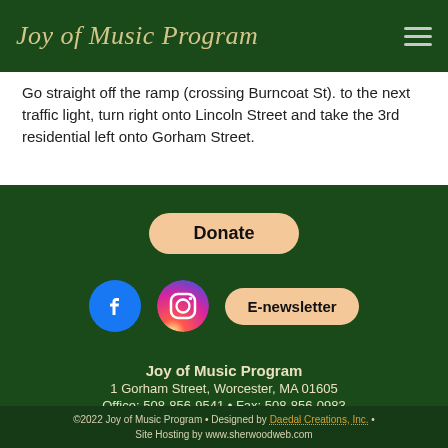Joy of Music Program
Go straight off the ramp (crossing Burncoat St). to the next traffic light, turn right onto Lincoln Street and take the 3rd residential left onto Gorham Street.
[Figure (infographic): Donate button, Facebook icon, Instagram icon, and E-newsletter button in the footer area of the Joy of Music Program website]
Joy of Music Program
1 Gorham Street, Worcester, MA 01605
Office: 508-856-9541 • Fax: 508-856-0983
©2022 Joy of Music Program • Designed by Daedal Creations, Inc. • Site Hosting by www.sherwoodweb.com